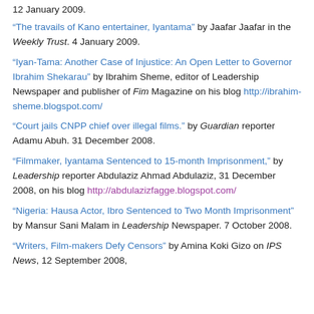12 January 2009.
"The travails of Kano entertainer, Iyantama" by Jaafar Jaafar in the Weekly Trust. 4 January 2009.
"Iyan-Tama: Another Case of Injustice: An Open Letter to Governor Ibrahim Shekarau" by Ibrahim Sheme, editor of Leadership Newspaper and publisher of Fim Magazine on his blog http://ibrahim-sheme.blogspot.com/
"Court jails CNPP chief over illegal films." by Guardian reporter Adamu Abuh. 31 December 2008.
"Filmmaker, Iyantama Sentenced to 15-month Imprisonment," by Leadership reporter Abdulaziz Ahmad Abdulaziz, 31 December 2008, on his blog http://abdulazizfagge.blogspot.com/
"Nigeria: Hausa Actor, Ibro Sentenced to Two Month Imprisonment" by Mansur Sani Malam in Leadership Newspaper. 7 October 2008.
"Writers, Film-makers Defy Censors" by Amina Koki Gizo on IPS News, 12 September 2008,